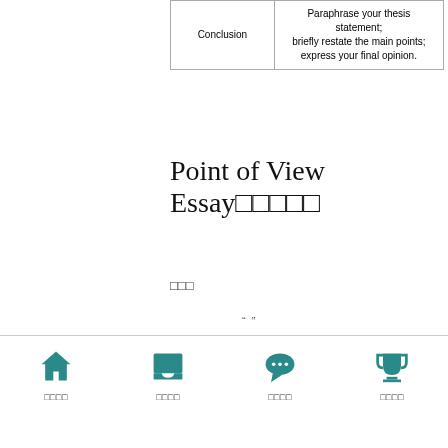|  |  |
| --- | --- |
| Conclusion | Paraphrase your thesis statement;
briefly restate the main points;
express your final opinion. |
Point of View Essay□□□□□
□□□
“  ”
□□□□ □□□□ □□□□ □□□□